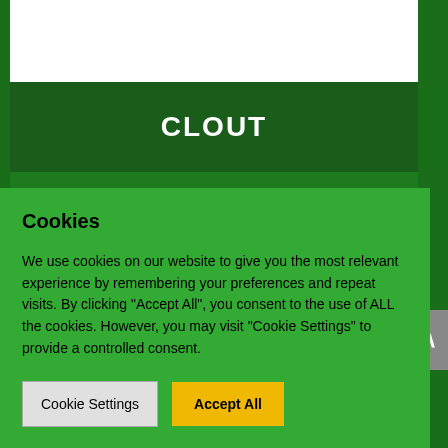CLOUT
17th February 2013
Cookies
We use cookies on our website to give you the most relevant experience by remembering your preferences and repeat visits. By clicking "Accept All", you consent to the use of ALL the cookies. However, you may visit "Cookie Settings" to provide a controlled consent.
Cookie Settings | Accept All